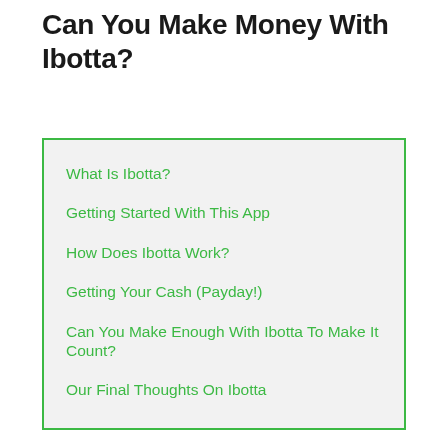Can You Make Money With Ibotta?
What Is Ibotta?
Getting Started With This App
How Does Ibotta Work?
Getting Your Cash (Payday!)
Can You Make Enough With Ibotta To Make It Count?
Our Final Thoughts On Ibotta